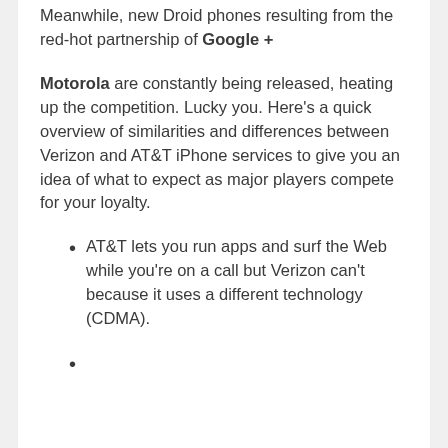Meanwhile, new Droid phones resulting from the red-hot partnership of Google + Motorola are constantly being released, heating up the competition. Lucky you. Here’s a quick overview of similarities and differences between Verizon and AT&T iPhone services to give you an idea of what to expect as major players compete for your loyalty.
AT&T lets you run apps and surf the Web while you’re on a call but Verizon can’t because it uses a different technology (CDMA).
(cut off at bottom)